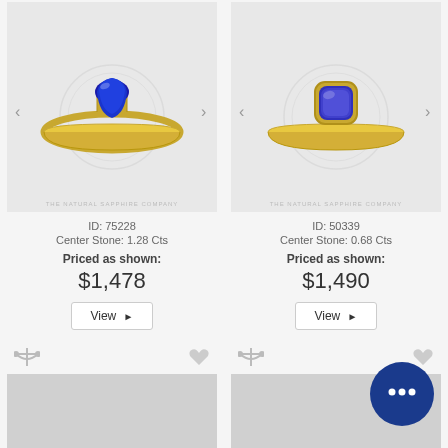[Figure (photo): Gold ring with blue pear-shaped sapphire center stone, product ID 75228]
ID: 75228
Center Stone: 1.28 Cts
Priced as shown:
$1,478
View ▶
[Figure (photo): Gold ring with blue cushion-shaped sapphire center stone, product ID 50339]
ID: 50339
Center Stone: 0.68 Cts
Priced as shown:
$1,490
View ▶
[Figure (photo): Bottom left product image placeholder (partially visible)]
[Figure (photo): Bottom right product image placeholder (partially visible) with chat bubble overlay]